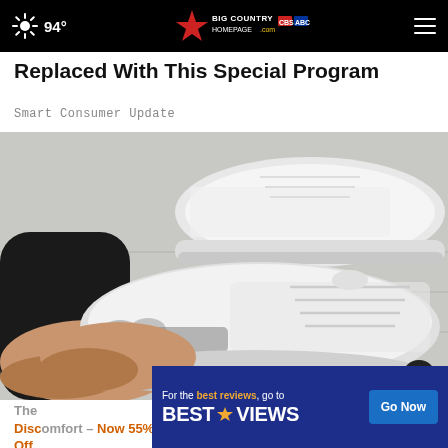94° | Big Country Homepage | bigcountryhomepage.com
Replaced With This Special Program
Smart Consumer Update
[Figure (photo): Close-up photo of a person putting on white athletic sneakers with gray accents on a light wood floor, wearing a black sleeve]
The ... Discomfort – Now 55% Off
[Figure (infographic): Ad banner: For the best reviews, go to BESTREVIEWS with a Go Now button on blue background]